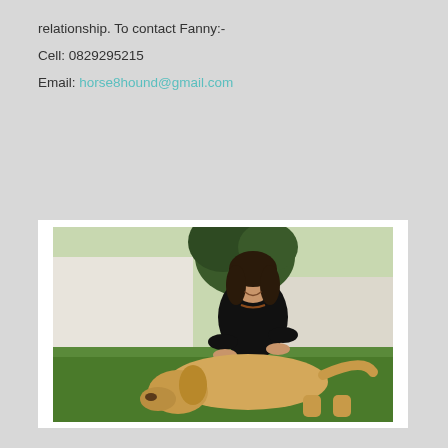relationship.  To contact Fanny:-
Cell: 0829295215
Email: horse8hound@gmail.com
[Figure (photo): A woman with dark shoulder-length hair dressed in a black long-sleeve top sits cross-legged on green grass outdoors, smiling and petting a large golden Labrador dog lying in front of her. Trees and a white building are visible in the background.]